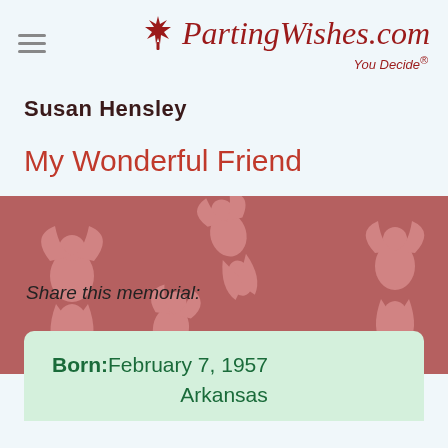PartingWishes.com — You Decide®
Susan Hensley
My Wonderful Friend
[Figure (illustration): Decorative angel/cherub tiled background banner in muted rose/mauve color]
Share this memorial:
Born: February 7, 1957
Arkansas